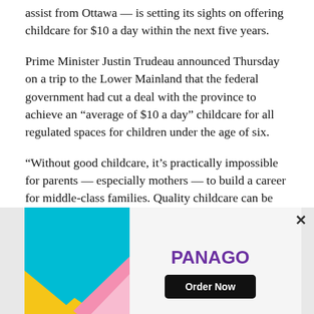assist from Ottawa — is setting its sights on offering childcare for $10 a day within the next five years.
Prime Minister Justin Trudeau announced Thursday on a trip to the Lower Mainland that the federal government had cut a deal with the province to achieve an “average of $10 a day” childcare for all regulated spaces for children under the age of six.
“Without good childcare, it’s practically impossible for parents — especially mothers — to build a career for middle-class families. Quality childcare can be incredibly expensive,” he said after meeting in person with B.C. Premier John Horgan in Coquitlam.
[Figure (other): Advertisement banner for PANAGO with colorful geometric shapes (blue, yellow, pink triangles) on the left and PANAGO logo with Order Now button on the right.]